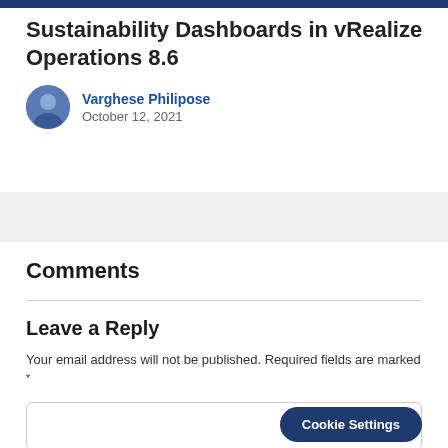Sustainability Dashboards in vRealize Operations 8.6
Varghese Philipose
October 12, 2021
Comments
Leave a Reply
Your email address will not be published. Required fields are marked *
Cookie Settings